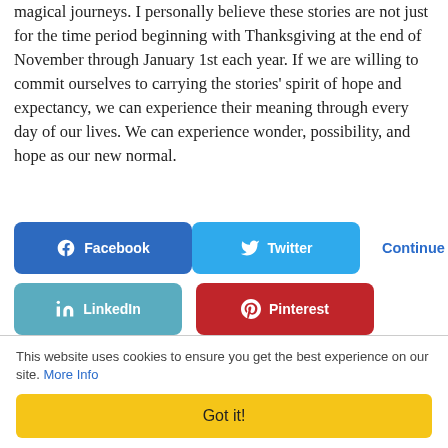magical journeys. I personally believe these stories are not just for the time period beginning with Thanksgiving at the end of November through January 1st each year. If we are willing to commit ourselves to carrying the stories' spirit of hope and expectancy, we can experience their meaning through every day of our lives. We can experience wonder, possibility, and hope as our new normal.
[Figure (other): Social sharing buttons: Facebook, Twitter, LinkedIn, Pinterest, Reddit, and a Continue reading link]
This website uses cookies to ensure you get the best experience on our site. More Info
Got it!